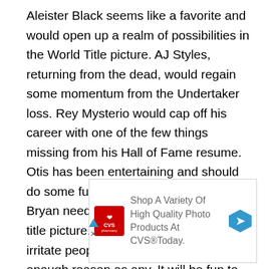Aleister Black seems like a favorite and would open up a realm of possibilities in the World Title picture. AJ Styles, returning from the dead, would regain some momentum from the Undertaker loss. Rey Mysterio would cap off his career with one of the few things missing from his Hall of Fame resume. Otis has been entertaining and should do some fun things in this match. Daniel Bryan needs a win to get back into the title picture. King Corbin would simply irritate people. That might be a good enough reason as any. It will be fun to watch the chaos of the two Money in the Bank
[Figure (other): CVS Pharmacy advertisement: Shop A Variety Of High Quality Photo Products At CVS® Today.]